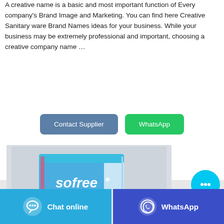A creative name is a basic and most important function of Every company's Brand Image and Marketing. You can find here Creative Sanitary ware Brand Names ideas for your business. While your business may be extremely professional and important, choosing a creative company name …
[Figure (other): Contact Supplier button (blue-grey) and WhatsApp button (green)]
[Figure (photo): Sofree Sanitary Pad Pure Cotton product box in blue packaging]
[Figure (other): Cyan circular chat bubble button floating on right side]
[Figure (other): Bottom bar with Chat online (cyan) and WhatsApp (dark blue) buttons]